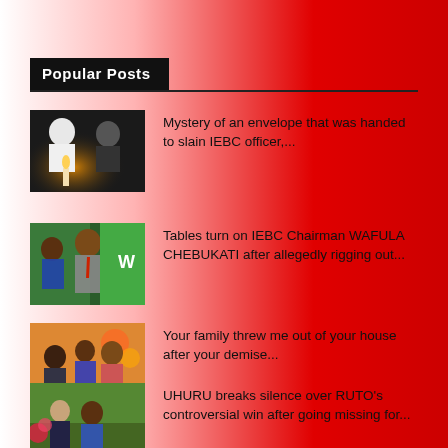Popular Posts
Mystery of an envelope that was handed to slain IEBC officer,...
Tables turn on IEBC Chairman WAFULA CHEBUKATI after allegedly rigging out...
Your family threw me out of your house after your demise...
UHURU breaks silence over RUTO's controversial win after going missing for...